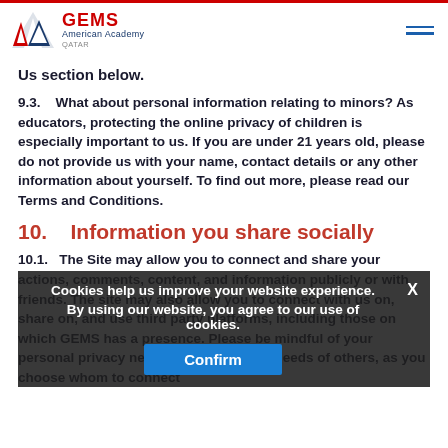GEMS American Academy QATAR
Us section below.
9.3.    What about personal information relating to minors? As educators, protecting the online privacy of children is especially important to us. If you are under 21 years old, please do not provide us with your name, contact details or any other information about yourself. To find out more, please read our Terms and Conditions.
10.    Information you share socially
10.1.    The Site may allow you to connect and share your actions, comments, content, and information publicly or with friends. The site may also allow you to connect with us on, share on, and use third party platforms, including those on which GEMS has a presence. Please be mindful of your personal privacy needs and the privacy needs of others, as you choose whom to connect with and what to share and make public.
Cookies help us improve your website experience. By using our website, you agree to our use of cookies.